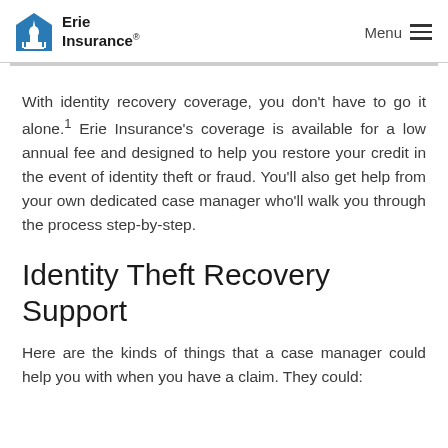Erie Insurance — Menu
With identity recovery coverage, you don't have to go it alone.¹ Erie Insurance's coverage is available for a low annual fee and designed to help you restore your credit in the event of identity theft or fraud. You'll also get help from your own dedicated case manager who'll walk you through the process step-by-step.
Identity Theft Recovery Support
Here are the kinds of things that a case manager could help you with when you have a claim. They could: